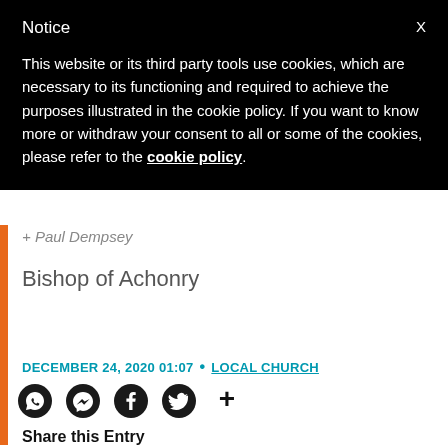Notice
This website or its third party tools use cookies, which are necessary to its functioning and required to achieve the purposes illustrated in the cookie policy. If you want to know more or withdraw your consent to all or some of the cookies, please refer to the cookie policy.
+ Paul Dempsey
Bishop of Achonry
DECEMBER 24, 2020 01:07 • LOCAL CHURCH
[Figure (infographic): Social share icons: WhatsApp, Messenger, Facebook, Twitter, and a plus/more icon]
Share this Entry